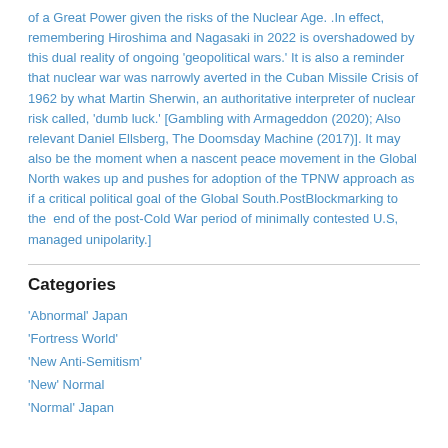of a Great Power given the risks of the Nuclear Age. .In effect, remembering Hiroshima and Nagasaki in 2022 is overshadowed by this dual reality of ongoing 'geopolitical wars.' It is also a reminder that nuclear war was narrowly averted in the Cuban Missile Crisis of 1962 by what Martin Sherwin, an authoritative interpreter of nuclear risk called, 'dumb luck.' [Gambling with Armageddon (2020); Also relevant Daniel Ellsberg, The Doomsday Machine (2017)]. It may also be the moment when a nascent peace movement in the Global North wakes up and pushes for adoption of the TPNW approach as if a critical political goal of the Global South.PostBlockmarking to the end of the post-Cold War period of minimally contested U.S, managed unipolarity.]
Categories
'Abnormal' Japan
'Fortress World'
'New Anti-Semitism'
'New' Normal
'Normal' Japan